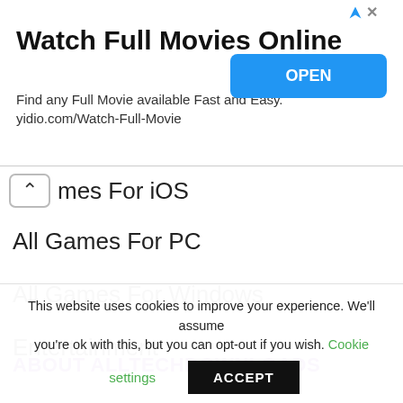[Figure (screenshot): Advertisement banner: 'Watch Full Movies Online' with subtitle 'Find any Full Movie available Fast and Easy. yidio.com/Watch-Full-Movie' and a blue OPEN button]
mes For iOS
All Games For PC
All Games For Windows
Entertainment
ABOUT ALLTECHDOWNLOADS
This website uses cookies to improve your experience. We'll assume you're ok with this, but you can opt-out if you wish. Cookie settings ACCEPT